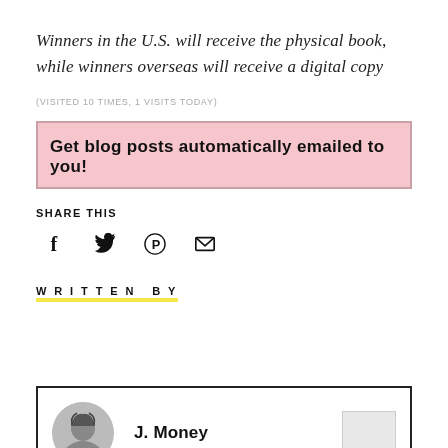Winners in the U.S. will receive the physical book, while winners overseas will receive a digital copy
(VISITED 10 TIMES, 1 VISITS TODAY)
Get blog posts automatically emailed to you!
SHARE THIS
[Figure (infographic): Social sharing icons: Facebook (f), Twitter bird, Pinterest (P), Email envelope]
WRITTEN BY
J. Money